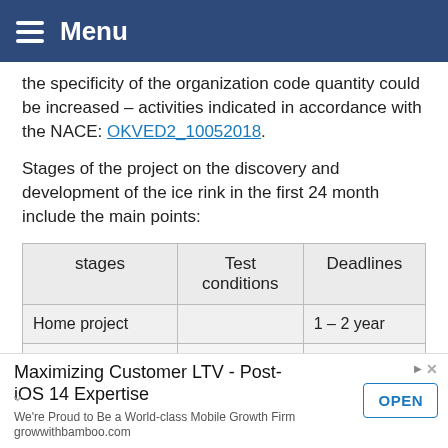Menu
the specificity of the organization code quantity could be increased – activities indicated in accordance with the NACE: OKVED2_10052018.
Stages of the project on the discovery and development of the ice rink in the first 24 month include the main points:
| stages | Test conditions | Deadlines |
| --- | --- | --- |
| Home project |  | 1 – 2 year |
| The conclusion of the investment
agreement | 1 project of the month | first 30 banking days |
Maximizing Customer LTV - Post-iOS 14 Expertise
We're Proud to Be a World-class Mobile Growth Firm
growwithbamboo.com